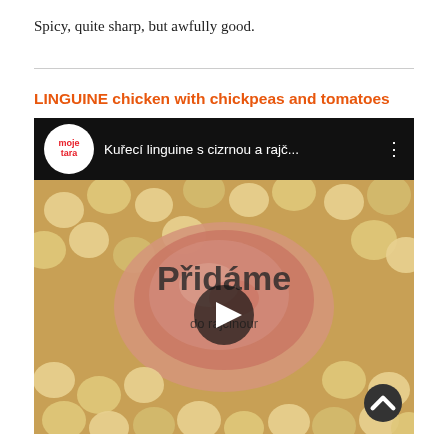Spicy, quite sharp, but awfully good.
LINGUINE chicken with chickpeas and tomatoes
[Figure (screenshot): YouTube-style embedded video thumbnail showing 'Kuřecí linguine s cizrnou a rajč...' from moje tara channel, with a food close-up of chicken and chickpeas, 'Přidáme' text overlay, and a play button in the center.]